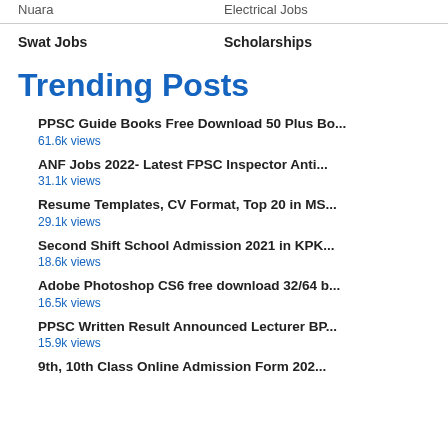Nuara | Electrical Jobs
Swat Jobs | Scholarships
Trending Posts
PPSC Guide Books Free Download 50 Plus Bo...
61.6k views
ANF Jobs 2022- Latest FPSC Inspector Anti...
31.1k views
Resume Templates, CV Format, Top 20 in MS...
29.1k views
Second Shift School Admission 2021 in KPK...
18.6k views
Adobe Photoshop CS6 free download 32/64 b...
16.5k views
PPSC Written Result Announced Lecturer BP...
15.9k views
9th, 10th Class Online Admission Form 202...